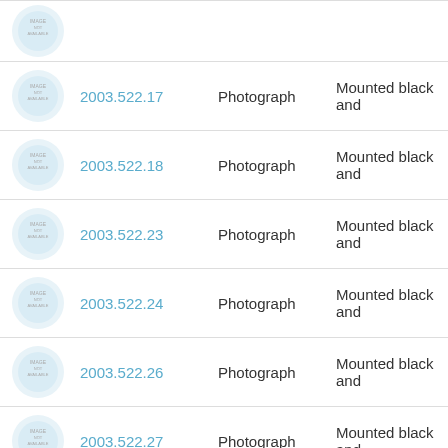| Thumbnail | ID | Type | Description |
| --- | --- | --- | --- |
| [image] | 2003.522.17 | Photograph | Mounted black and |
| [image] | 2003.522.18 | Photograph | Mounted black and |
| [image] | 2003.522.23 | Photograph | Mounted black and |
| [image] | 2003.522.24 | Photograph | Mounted black and |
| [image] | 2003.522.26 | Photograph | Mounted black and |
| [image] | 2003.522.27 | Photograph | Mounted black and |
| [image] | 2003.534.46 | Photograph |  |
| [image] | 2003.534.47 | Photograph |  |